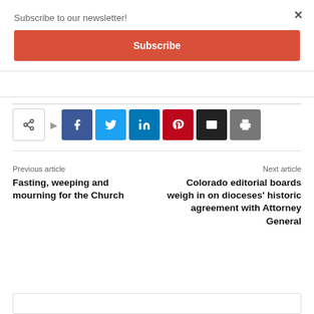Subscribe to our newsletter!
Subscribe
[Figure (infographic): Share buttons row: share icon, Facebook, Twitter, LinkedIn, Pinterest, Email, Print]
Previous article
Fasting, weeping and mourning for the Church
Next article
Colorado editorial boards weigh in on dioceses' historic agreement with Attorney General